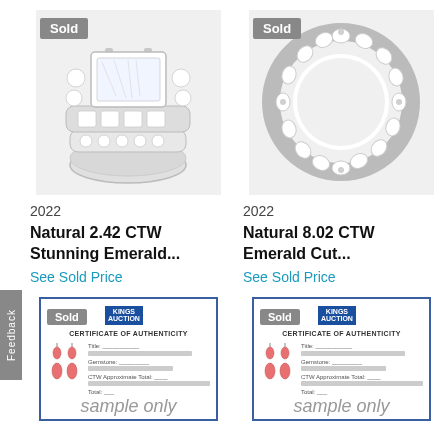[Figure (photo): Diamond engagement ring set with emerald cut center stone, shown with 'Sold' badge]
[Figure (photo): Diamond eternity band ring, shown with 'Sold' badge]
2022
2022
Natural 2.42 CTW Stunning Emerald...
Natural 8.02 CTW Emerald Cut...
See Sold Price
See Sold Price
[Figure (photo): Certificate of Authenticity document with pink earrings image, Kings Auction logo, 'sample only' watermark, 'Sold' badge]
[Figure (photo): Certificate of Authenticity document with pink earrings image, Kings Auction logo, 'sample only' watermark, 'Sold' badge]